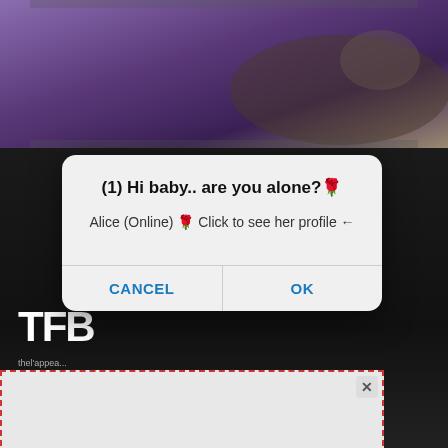[Figure (photo): Top portion of page showing a dark purple background with a figure in green bikini/swimwear reclining]
[Figure (screenshot): Mobile browser popup dialog: title '(1) Hi baby.. are you alone?🌹', body text 'Alice (Online) 🌹 Click to see her profile ←', with CANCEL and OK buttons]
[Figure (photo): Background dark section with TFB logo text and dark-background website content]
[Figure (infographic): Punt Casino advertisement banner in dashed red border: 'WELCOME BONUS PLAY AT THE #1 CRYPTO CASINO' with gold bitcoin coin and play button, close X button in corner]